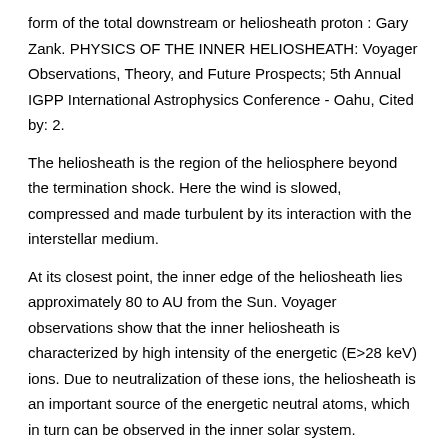form of the total downstream or heliosheath proton : Gary Zank. PHYSICS OF THE INNER HELIOSHEATH: Voyager Observations, Theory, and Future Prospects; 5th Annual IGPP International Astrophysics Conference - Oahu, Cited by: 2.
The heliosheath is the region of the heliosphere beyond the termination shock. Here the wind is slowed, compressed and made turbulent by its interaction with the interstellar medium.
At its closest point, the inner edge of the heliosheath lies approximately 80 to AU from the Sun. Voyager observations show that the inner heliosheath is characterized by high intensity of the energetic (E>28 keV) ions. Due to neutralization of these ions, the heliosheath is an important source of the energetic neutral atoms, which in turn can be observed in the inner solar system.
The fluxes of the energetic hydrogen (58–88 keV) and helium (28–58 keV/n) atoms from the heliosheath have Author: A. Czechowski, M. Hilchenbach, K. Hsieh, S. Grzedzielski. Transport Processes in Space Physics and Astrophysics is aimed at graduate level students to